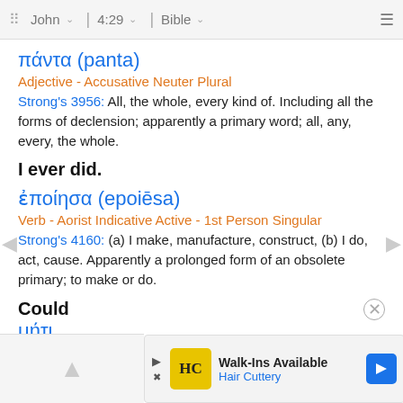John 4:29 Bible
πάντα (panta)
Adjective - Accusative Neuter Plural
Strong's 3956: All, the whole, every kind of. Including all the forms of declension; apparently a primary word; all, any, every, the whole.
I ever did.
ἐποίησα (epoiēsa)
Verb - Aorist Indicative Active - 1st Person Singular
Strong's 4160: (a) I make, manufacture, construct, (b) I do, act, cause. Apparently a prolonged form of an obsolete primary; to make or do.
Could
μήτι
IntPrt
[Figure (screenshot): Advertisement banner: Hair Cuttery 'Walk-Ins Available' ad with logo and navigation arrow]